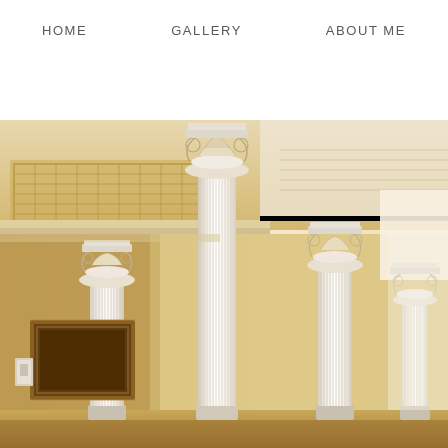HOME   GALLERY   ABOUT ME
[Figure (photo): Interior photograph of a classical hallway with tall white Corinthian columns, ornate capitals, coffered ceiling details, warm golden-cream lighting, and framed paintings visible on the wall in the background.]